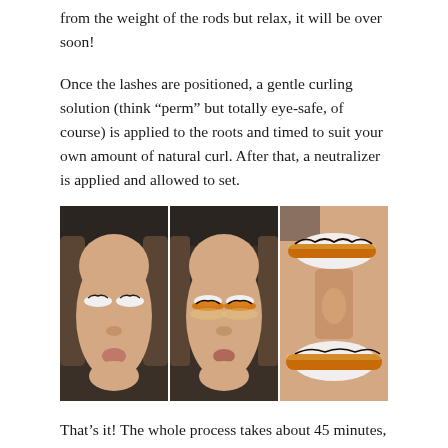from the weight of the rods but relax, it will be over soon!
Once the lashes are positioned, a gentle curling solution (think “perm” but totally eye-safe, of course) is applied to the roots and timed to suit your own amount of natural curl. After that, a neutralizer is applied and allowed to set.
[Figure (photo): Three side-by-side photos of a person lying face-up (viewed upside-down) with lash lift procedure in progress. Left photo shows white eye pads placed on closed eyes. Middle photo shows orange/amber silicone rods placed over the white eye pads on closed lashes. Right photo is a close-up showing the orange rods and white silicone shields on the eyes with solution applied.]
That’s it! The whole process takes about 45 minutes, and